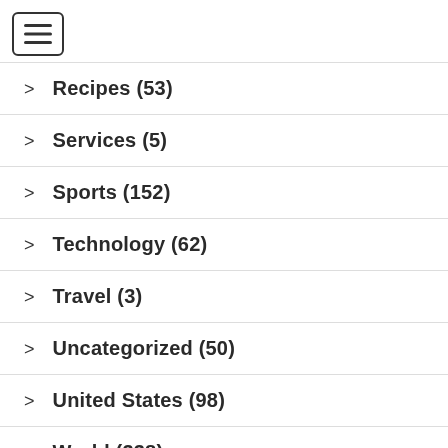[Figure (other): Hamburger menu icon button with three horizontal lines inside a rounded rectangle border]
Recipes (53)
Services (5)
Sports (152)
Technology (62)
Travel (3)
Uncategorized (50)
United States (98)
World (338)